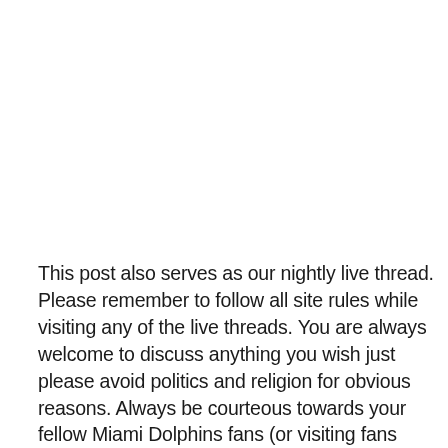This post also serves as our nightly live thread. Please remember to follow all site rules while visiting any of the live threads. You are always welcome to discuss anything you wish just please avoid politics and religion for obvious reasons. Always be courteous towards your fellow Miami Dolphins fans (or visiting fans from another team) when discussing or debating any topics.